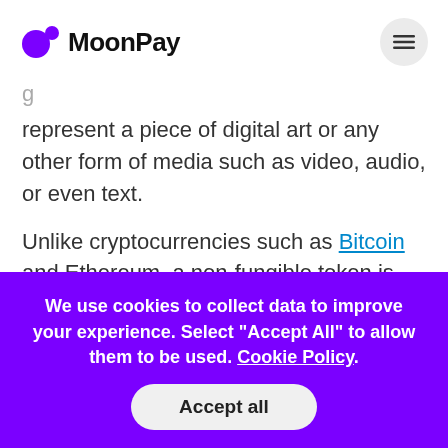MoonPay
represent a piece of digital art or any other form of media such as video, audio, or even text.
Unlike cryptocurrencies such as Bitcoin and Ethereum, a non-fungible token is one of a kind based on its specific data.
We use cookies to collect data to improve your experience. Select "Accept All" to allow them to be used. Cookie Policy.
Accept all